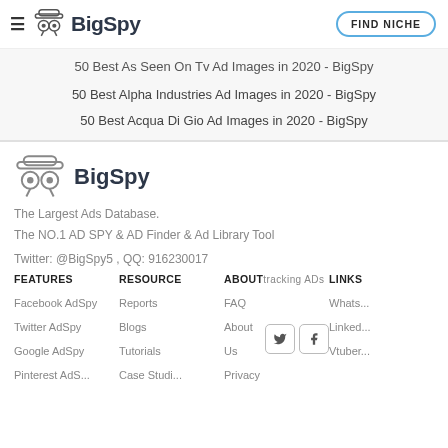BigSpy — FIND NICHE
50 Best As Seen On Tv Ad Images in 2020 - BigSpy
50 Best Alpha Industries Ad Images in 2020 - BigSpy
50 Best Acqua Di Gio Ad Images in 2020 - BigSpy
[Figure (logo): BigSpy logo with hat-wearing spy icon and bold BigSpy text]
The Largest Ads Database.
The NO.1 AD SPY & AD Finder & Ad Library Tool
Twitter: @BigSpy5 , QQ: 916230017
FEATURES
Facebook AdSpy
Twitter AdSpy
Google AdSpy
Pinterest AdSpy
RESOURCE
Reports
Blogs
Tutorials
Case Studies
ABOUT
Tracking ADs
FAQ
About Us
Privacy
Terms
LINKS
WhatsApp
LinkedIn
Vtuber